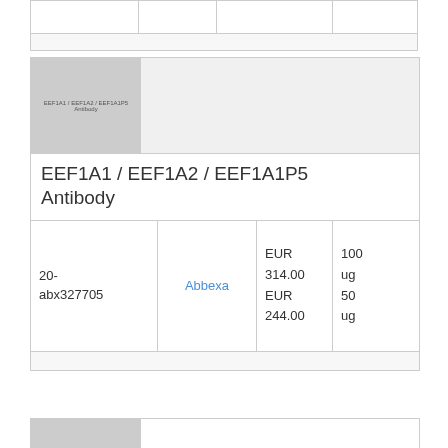|  |  |  |  |  |
| --- | --- | --- | --- | --- |
|  |  |  |  |  |
[Figure (photo): Product image placeholder for EEF1A1 / EEF1A2 / EEF1A1P5 Antibody with gray background and text label]
EEF1A1 / EEF1A2 / EEF1A1P5 Antibody
| ID | Supplier | Price | Size |
| --- | --- | --- | --- |
| 20-abx327705 | Abbexa | EUR 314.00
EUR 244.00 | 100 ug
50 ug |
|  |  |  |  |  |
| --- | --- | --- | --- | --- |
|  |  |  |  |  |